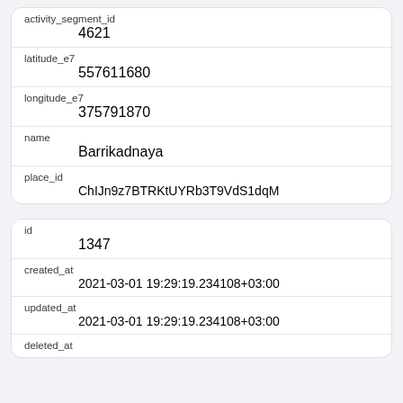| activity_segment_id | 4621 |
| latitude_e7 | 557611680 |
| longitude_e7 | 375791870 |
| name | Barrikadnaya |
| place_id | ChIJn9z7BTRKtUYRb3T9VdS1dqM |
| id | 1347 |
| created_at | 2021-03-01 19:29:19.234108+03:00 |
| updated_at | 2021-03-01 19:29:19.234108+03:00 |
| deleted_at |  |